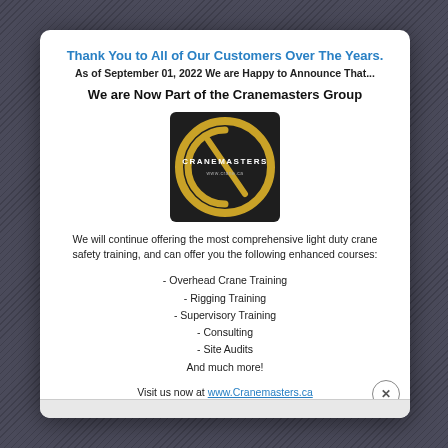Thank You to All of Our Customers Over The Years.
As of September 01, 2022 We are Happy to Announce That...
We are Now Part of the Cranemasters Group
[Figure (logo): Cranemasters logo — dark background circle with gold ring and company name]
We will continue offering the most comprehensive light duty crane safety training, and can offer you the following enhanced courses:
- Overhead Crane Training
- Rigging Training
- Supervisory Training
- Consulting
- Site Audits
And much more!
Visit us now at www.Cranemasters.ca
Email: steve@cranemasters.ca
T: 780-417-5057